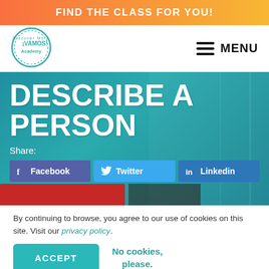FIND THE CLASS FOR YOU!
[Figure (logo): Vamos Academy circular logo with text 'Discover More ¡VAMOS! Academy']
MENU
DESCRIBE A PERSON
Share:
Facebook  Twitter  Linkedin
By continuing to browse, you agree to our use of cookies on this site. Visit our privacy policy.
ACCEPT
No cookies, please.